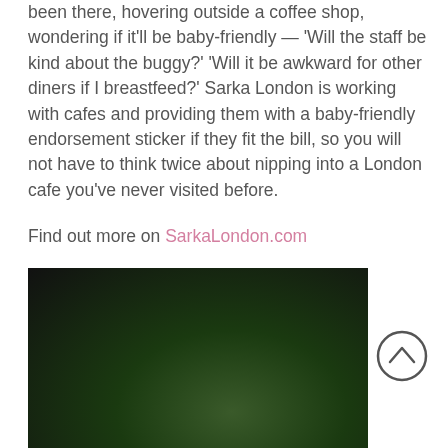been there, hovering outside a coffee shop, wondering if it'll be baby-friendly — 'Will the staff be kind about the buggy?' 'Will it be awkward for other diners if I breastfeed?' Sarka London is working with cafes and providing them with a baby-friendly endorsement sticker if they fit the bill, so you will not have to think twice about nipping into a London cafe you've never visited before.
Find out more on SarkaLondon.com
[Figure (photo): Photo of an orange circular baby-friendly venue sticker with the text 'BABY-FRIENDLY VENUE' around the edge, a checkmark in the center, and 'sarka LONDON' at the bottom, placed on a dark background with blurred green foliage.]